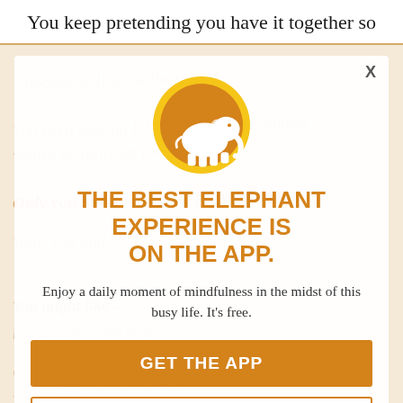You keep pretending you have it together so
[Figure (screenshot): App promotion modal overlay on a webpage. Contains an elephant logo in an orange circle, headline text, description, and two call-to-action buttons.]
THE BEST ELEPHANT EXPERIENCE IS ON THE APP.
Enjoy a daily moment of mindfulness in the midst of this busy life. It's free.
GET THE APP
OPEN IN APP